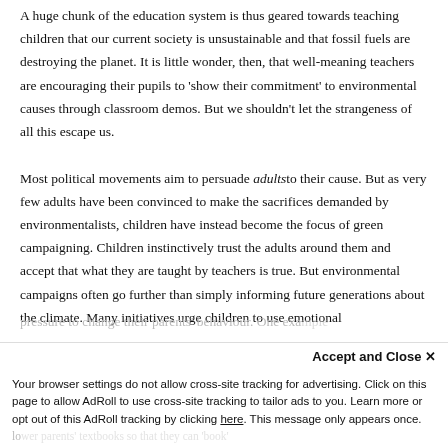A huge chunk of the education system is thus geared towards teaching children that our current society is unsustainable and that fossil fuels are destroying the planet. It is little wonder, then, that well-meaning teachers are encouraging their pupils to 'show their commitment' to environmental causes through classroom demos. But we shouldn't let the strangeness of all this escape us.
Most political movements aim to persuade adults to their cause. But as very few adults have been convinced to make the sacrifices demanded by environmentalists, children have instead become the focus of green campaigning. Children instinctively trust the adults around them and accept that what they are taught by teachers is true. But environmental campaigns often go further than simply informing future generations about the climate. Many initiatives urge children to use emotional pressure to change their parents' behaviour. One example
Accept and Close ✕
Your browser settings do not allow cross-site tracking for advertising. Click on this page to allow AdRoll to use cross-site tracking to tailor ads to you. Learn more or opt out of this AdRoll tracking by clicking here. This message only appears once.